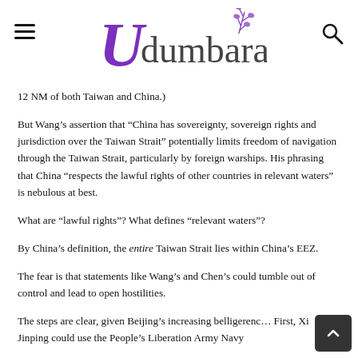Udumbara
12 NM of both Taiwan and China.)
But Wang's assertion that “China has sovereignty, sovereign rights and jurisdiction over the Taiwan Strait” potentially limits freedom of navigation through the Taiwan Strait, particularly by foreign warships. His phrasing that China “respects the lawful rights of other countries in relevant waters” is nebulous at best.
What are “lawful rights”? What defines “relevant waters”?
By China’s definition, the entire Taiwan Strait lies within China’s EEZ.
The fear is that statements like Wang’s and Chen’s could tumble out of control and lead to open hostilities.
The steps are clear, given Beijing’s increasing belligerence. First, Xi Jinping could use the People’s Liberation Army Navy